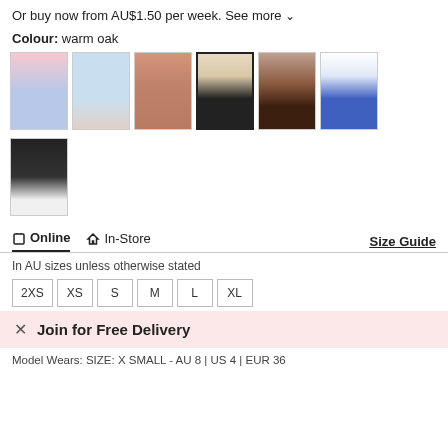Or buy now from AU$1.50 per week. See more ∨
Colour: warm oak
[Figure (photo): Seven colour variant swatches showing women wearing crop tops in pink, light blue, peach/orange, warm oak (selected), brown, blue/white, and black colourways]
Online  In-Store  Size Guide
In AU sizes unless otherwise stated
2XS  XS  S  M  L  XL
× Join for Free Delivery
Model Wears: SIZE: X SMALL - AU 8 | US 4 | EUR 36